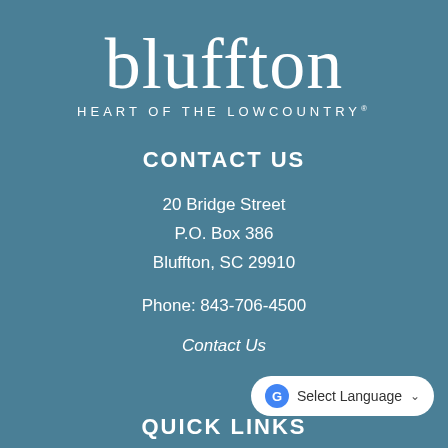[Figure (logo): Bluffton town logo with text 'bluffton' in large serif font and tagline 'HEART OF THE LOWCOUNTRY']
CONTACT US
20 Bridge Street
P.O. Box 386
Bluffton, SC 29910
Phone: 843-706-4500
Contact Us
QUICK LINKS